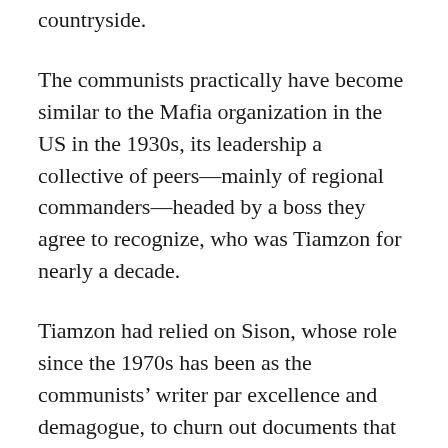countryside.
The communists practically have become similar to the Mafia organization in the US in the 1930s, its leadership a collective of peers—mainly of regional commanders—headed by a boss they agree to recognize, who was Tiamzon for nearly a decade.
Tiamzon had relied on Sison, whose role since the 1970s has been as the communists' writer par excellence and demagogue, to churn out documents that portrayed a unified party led by its chairman, “Armando Liwanag,” in reality merely the personification of the collective decision of the group of regional leaders.